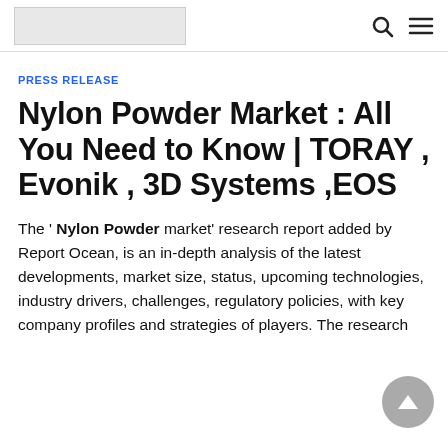[Logo] [Search icon] [Menu icon]
PRESS RELEASE
Nylon Powder Market : All You Need to Know | TORAY , Evonik , 3D Systems ,EOS
The ' Nylon Powder market' research report added by Report Ocean, is an in-depth analysis of the latest developments, market size, status, upcoming technologies, industry drivers, challenges, regulatory policies, with key company profiles and strategies of players. The research